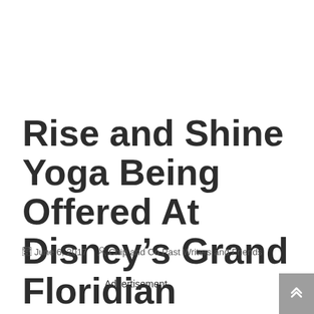Rise and Shine Yoga Being Offered At Disney’s Grand Floridian Resort and Spa
June 6, 2017  Chip and Co Past Writers and Friends
Advertisement